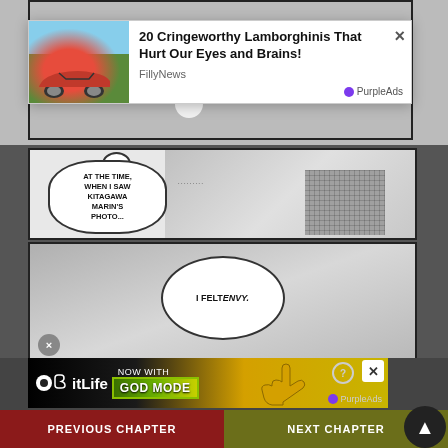[Figure (screenshot): Manga page screenshot with multiple panels, two ad overlays, and chapter navigation. Top panel shows partial manga scene with speech bubble 'HAVE TO BE ME...?'. Second panel shows speech bubble 'AT THE TIME, WHEN I SAW KITAGAWA MARIN'S PHOTO...' with small ellipsis. Third panel shows speech bubble 'I FELT ENVY.' A PurpleAds advertisement overlay shows '20 Cringeworthy Lamborghinis That Hurt Our Eyes and Brains!' from FillyNews. Bottom has BitLife 'NOW WITH GOD MODE' ad banner with PurpleAds branding, and navigation buttons 'PREVIOUS CHAPTER' and 'NEXT CHAPTER'.]